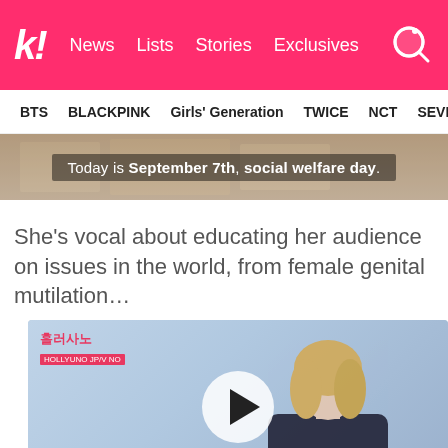k! News Lists Stories Exclusives [search]
BTS  BLACKPINK  Girls' Generation  TWICE  NCT  SEVE
[Figure (photo): Image strip showing text overlay: Today is September 7th, social welfare day.]
She's vocal about educating her audience on issues in the world, from female genital mutilation…
[Figure (photo): Video thumbnail showing a blonde woman in a dark top against a light background, with a play button overlay and Korean text logo in top-left corner.]